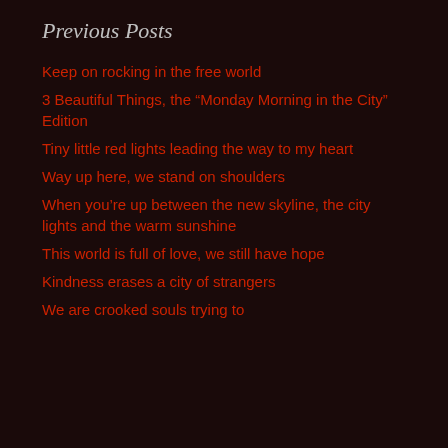Previous Posts
Keep on rocking in the free world
3 Beautiful Things, the “Monday Morning in the City” Edition
Tiny little red lights leading the way to my heart
Way up here, we stand on shoulders
When you’re up between the new skyline, the city lights and the warm sunshine
This world is full of love, we still have hope
Kindness erases a city of strangers
We are crooked souls trying to